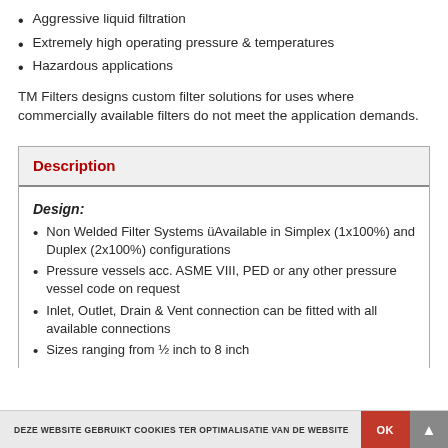Aggressive liquid filtration
Extremely high operating pressure & temperatures
Hazardous applications
TM Filters designs custom filter solutions for uses where commercially available filters do not meet the application demands.
| Description |
| --- |
| Design:
• Non Welded Filter Systems üAvailable in Simplex (1x100%) and Duplex (2x100%) configurations
• Pressure vessels acc. ASME VIII, PED or any other pressure vessel code on request
• Inlet, Outlet, Drain & Vent connection can be fitted with all available connections
• Sizes ranging from ½ inch to 8 inch |
DEZE WEBSITE GEBRUIKT COOKIES TER OPTIMALISATIE VAN DE WEBSITE   OK